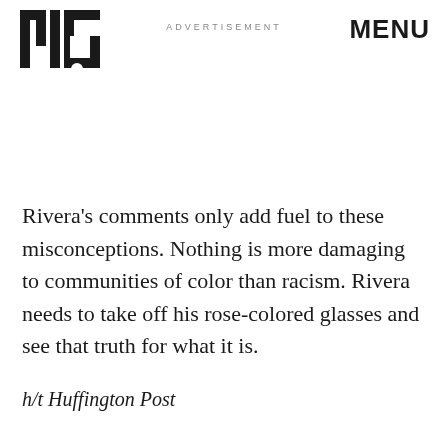MIC | ADVERTISEMENT | MENU
Rivera's comments only add fuel to these misconceptions. Nothing is more damaging to communities of color than racism. Rivera needs to take off his rose-colored glasses and see that truth for what it is.
h/t Huffington Post